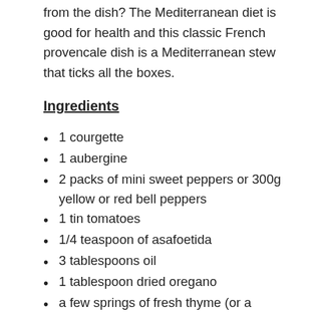from the dish? The Mediterranean diet is good for health and this classic French provencale dish is a Mediterranean stew that ticks all the boxes.
Ingredients
1 courgette
1 aubergine
2 packs of mini sweet peppers or 300g yellow or red bell peppers
1 tin tomatoes
1/4 teaspoon of asafoetida
3 tablespoons oil
1 tablespoon dried oregano
a few springs of fresh thyme (or a tablespoon on dried)